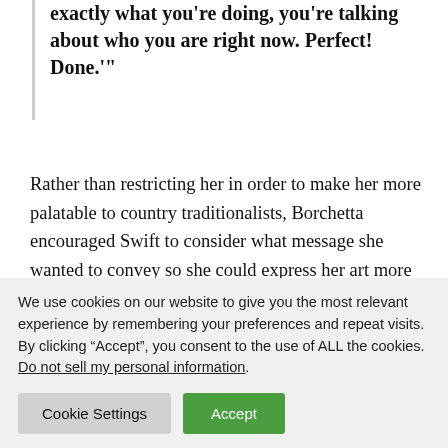exactly what you're doing, you're talking about who you are right now. Perfect! Done.'"
Rather than restricting her in order to make her more palatable to country traditionalists, Borchetta encouraged Swift to consider what message she wanted to convey so she could express her art more authentically.
Notably, this meeting took place a few months after Swift
We use cookies on our website to give you the most relevant experience by remembering your preferences and repeat visits. By clicking “Accept”, you consent to the use of ALL the cookies. Do not sell my personal information.